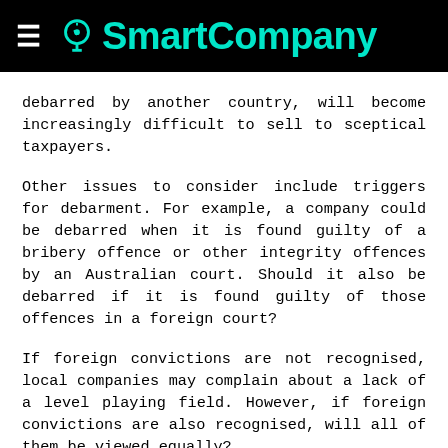SmartCompany
debarred by another country, will become increasingly difficult to sell to sceptical taxpayers.
Other issues to consider include triggers for debarment. For example, a company could be debarred when it is found guilty of a bribery offence or other integrity offences by an Australian court. Should it also be debarred if it is found guilty of those offences in a foreign court?
If foreign convictions are not recognised, local companies may complain about a lack of a level playing field. However, if foreign convictions are also recognised, will all of them be viewed equally?
What about convictions handed down in countries